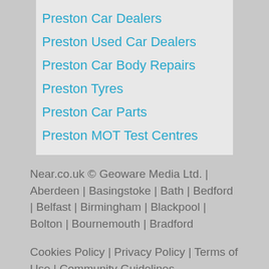Preston Car Dealers
Preston Used Car Dealers
Preston Car Body Repairs
Preston Tyres
Preston Car Parts
Preston MOT Test Centres
Near.co.uk © Geoware Media Ltd. | Aberdeen | Basingstoke | Bath | Bedford | Belfast | Birmingham | Blackpool | Bolton | Bournemouth | Bradford
Cookies Policy | Privacy Policy | Terms of Use | Community Guidelines
support@near.co.uk